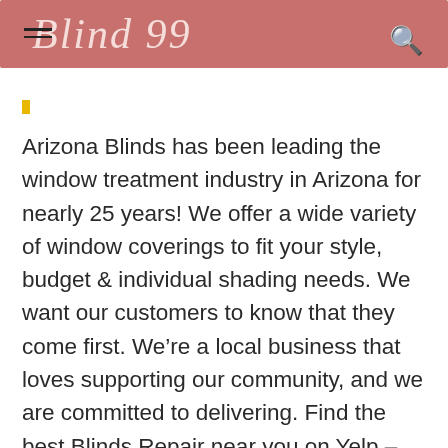Blind 99
Arizona Blinds has been leading the window treatment industry in Arizona for nearly 25 years! We offer a wide variety of window coverings to fit your style, budget & individual shading needs. We want our customers to know that they come first. We're a local business that loves supporting our community, and we are committed to delivering. Find the best Blinds Repair near you on Yelp – see all Blinds Repair open now. Explore other popular Home Services near you from over 7 million businesses with over 142 million reviews and